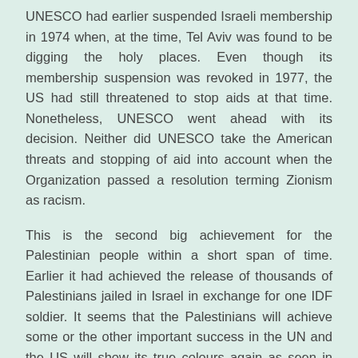UNESCO had earlier suspended Israeli membership in 1974 when, at the time, Tel Aviv was found to be digging the holy places. Even though its membership suspension was revoked in 1977, the US had still threatened to stop aids at that time. Nonetheless, UNESCO went ahead with its decision. Neither did UNESCO take the American threats and stopping of aid into account when the Organization passed a resolution terming Zionism as racism.
This is the second big achievement for the Palestinian people within a short span of time. Earlier it had achieved the release of thousands of Palestinians jailed in Israel in exchange for one IDF soldier. It seems that the Palestinians will achieve some or the other important success in the UN and the US will show its true colours again as seen in the instance of stopping its aid contribution to UNESCO.